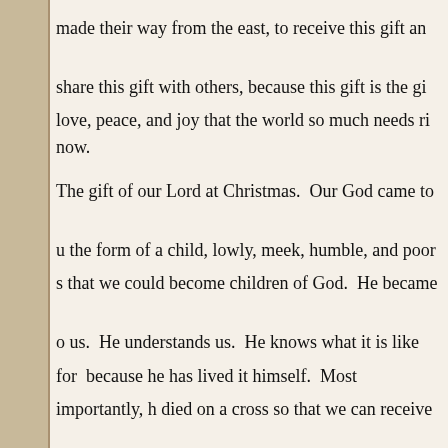made their way from the east, to receive this gift and share this gift with others, because this gift is the gift of love, peace, and joy that the world so much needs right now.
The gift of our Lord at Christmas. Our God came to us in the form of a child, lowly, meek, humble, and poor so that we could become children of God. He became one of us. He understands us. He knows what it is like for us because he has lived it himself. Most importantly, he died on a cross so that we can receive the ultimate gift of everlasting life.
That's what Christmas is all about, Charlie Brown!
Rejoice and be glad!